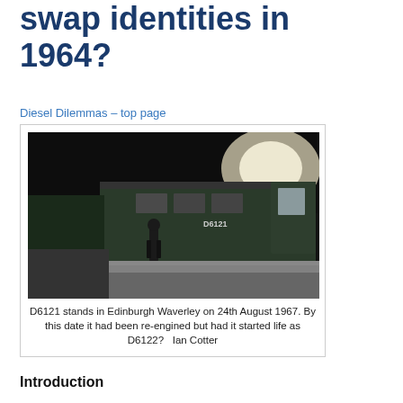swap identities in 1964?
Diesel Dilemmas – top page
[Figure (photo): Black and white photograph of diesel locomotive D6121 standing in Edinburgh Waverley station on 24th August 1967, with a person in uniform standing on the platform beside it.]
D6121 stands in Edinburgh Waverley on 24th August 1967. By this date it had been re-engined but had it started life as D6122?   Ian Cotter
Introduction